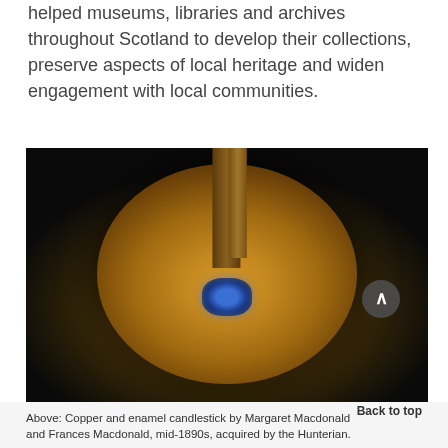helped museums, libraries and archives throughout Scotland to develop their collections, preserve aspects of local heritage and widen engagement with local communities.
[Figure (photo): Close-up photograph of the base of a copper and enamel candlestick by Margaret Macdonald and Frances Macdonald, mid-1890s. The circular disc base is ornately decorated with Art Nouveau relief patterns in gold/bronze tones. A blue-green enamel gemstone is set into the center of the base. The candlestick stem rises from the center against a dark background.]
Above: Copper and enamel candlestick by Margaret Macdonald and Frances Macdonald, mid-1890s, acquired by the Hunterian.